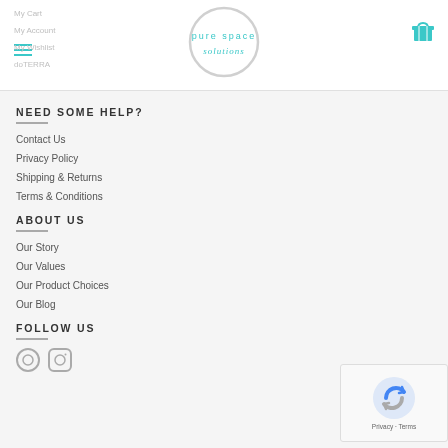My Cart | My Account | My Wishlist | doTERRA
[Figure (logo): Pure Space Solutions logo — circular outline with 'pure space solutions' text in teal]
NEED SOME HELP?
Contact Us
Privacy Policy
Shipping & Returns
Terms & Conditions
ABOUT US
Our Story
Our Values
Our Product Choices
Our Blog
FOLLOW US
[Figure (other): reCAPTCHA badge with Privacy and Terms links]